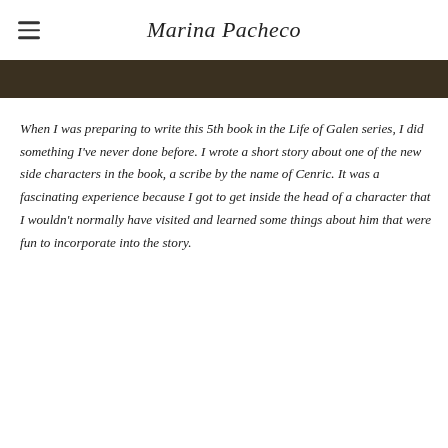Marina Pacheco
When I was preparing to write this 5th book in the Life of Galen series, I did something I've never done before. I wrote a short story about one of the new side characters in the book, a scribe by the name of Cenric. It was a fascinating experience because I got to get inside the head of a character that I wouldn't normally have visited and learned some things about him that were fun to incorporate into the story.